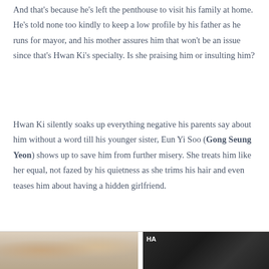And that's because he's left the penthouse to visit his family at home. He's told none too kindly to keep a low profile by his father as he runs for mayor, and his mother assures him that won't be an issue since that's Hwan Ki's specialty. Is she praising him or insulting him?
Hwan Ki silently soaks up everything negative his parents say about him without a word till his younger sister, Eun Yi Soo (Gong Seung Yeon) shows up to save him from further misery. She treats him like her equal, not fazed by his quietness as she trims his hair and even teases him about having a hidden girlfriend.
[Figure (photo): A horizontal strip of two images at the bottom of the page. Left image shows people in a light, warm-toned setting. Right image is darker with white text overlay showing 'HA'.]